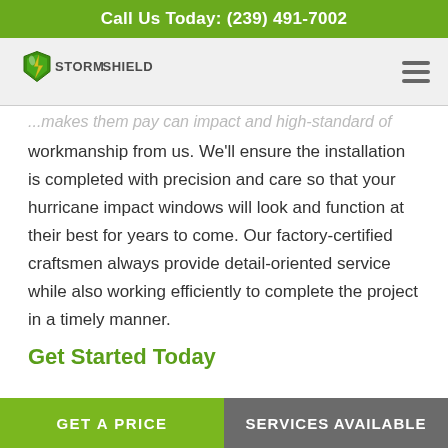Call Us Today: (239) 491-7002
[Figure (logo): Storm Shield logo with green shield icon and stylized text]
workmanship from us. We'll ensure the installation is completed with precision and care so that your hurricane impact windows will look and function at their best for years to come. Our factory-certified craftsmen always provide detail-oriented service while also working efficiently to complete the project in a timely manner.
Get Started Today
GET A PRICE | SERVICES AVAILABLE